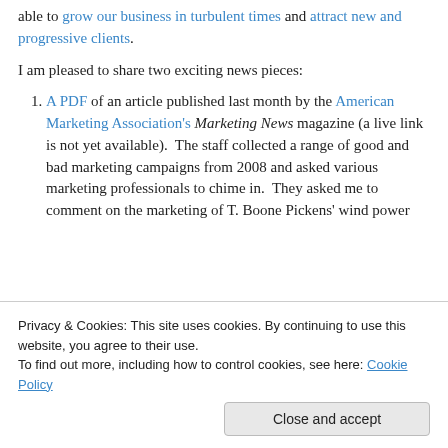able to grow our business in turbulent times and attract new and progressive clients.
I am pleased to share two exciting news pieces:
A PDF of an article published last month by the American Marketing Association's Marketing News magazine (a live link is not yet available). The staff collected a range of good and bad marketing campaigns from 2008 and asked various marketing professionals to chime in. They asked me to comment on the marketing of T. Boone Pickens' wind power
Privacy & Cookies: This site uses cookies. By continuing to use this website, you agree to their use. To find out more, including how to control cookies, see here: Cookie Policy